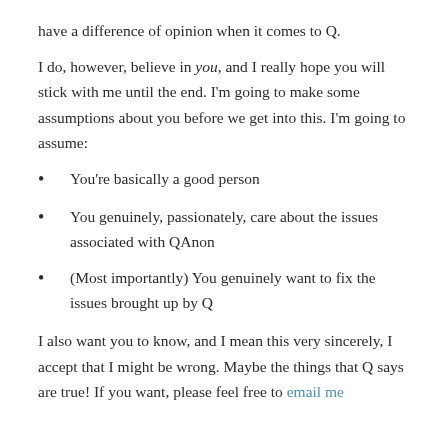have a difference of opinion when it comes to Q.
I do, however, believe in you, and I really hope you will stick with me until the end. I'm going to make some assumptions about you before we get into this. I'm going to assume:
You're basically a good person
You genuinely, passionately, care about the issues associated with QAnon
(Most importantly) You genuinely want to fix the issues brought up by Q
I also want you to know, and I mean this very sincerely, I accept that I might be wrong. Maybe the things that Q says are true! If you want, please feel free to email me